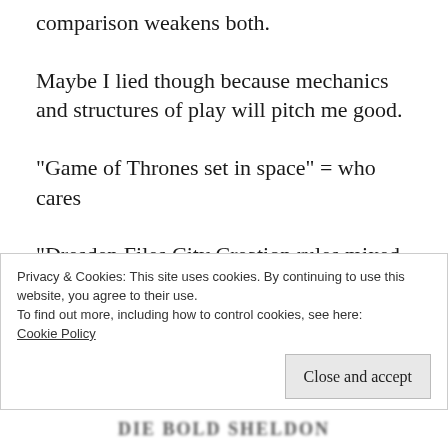comparison weakens both.
Maybe I lied though because mechanics and structures of play will pitch me good.
“Game of Thrones set in space” = who cares
“Dresden Files City Creation rules mixed that then uses Apples to Apples for combat resolution” = at least now I know what that will be like and I’m interested in checking that out.
Privacy & Cookies: This site uses cookies. By continuing to use this website, you agree to their use.
To find out more, including how to control cookies, see here: Cookie Policy
Close and accept
Die Bold Sheldon